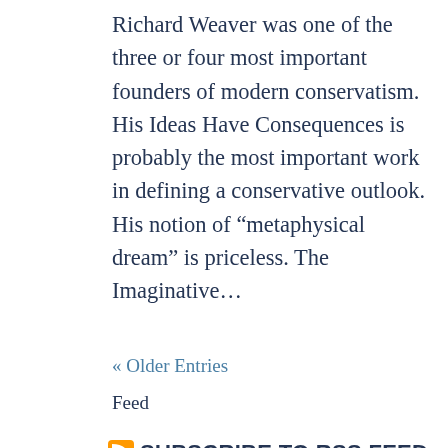Richard Weaver was one of the three or four most important founders of modern conservatism. His Ideas Have Consequences is probably the most important work in defining a conservative outlook. His notion of “metaphysical dream” is priceless. The Imaginative…
« Older Entries
Feed
SUBSCRIBE TO RSS FEED
Recent Posts